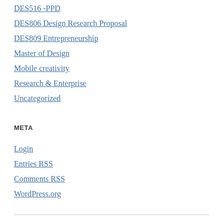DES516 -PPD
DES806 Design Research Proposal
DES809 Entrepreneurship
Master of Design
Mobile creativity
Research & Enterprise
Uncategorized
META
Login
Entries RSS
Comments RSS
WordPress.org